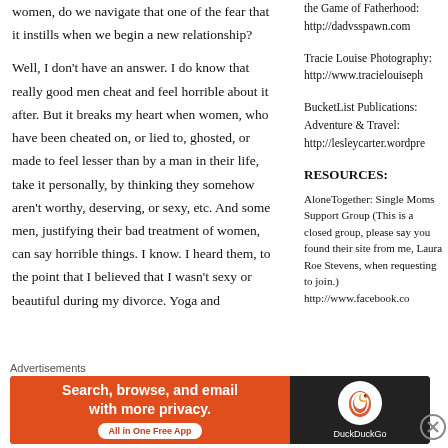women, do we navigate that one of the fear that it instills when we begin a new relationship?
Well, I don't have an answer. I do know that really good men cheat and feel horrible about it after. But it breaks my heart when women, who have been cheated on, or lied to, ghosted, or made to feel lesser than by a man in their life, take it personally, by thinking they somehow aren't worthy, deserving, or sexy, etc. And some men, justifying their bad treatment of women, can say horrible things. I know. I heard them, to the point that I believed that I wasn't sexy or beautiful during my divorce. Yoga and
the Game of Fatherhood: http://dadvsspawn.com
Tracie Louise Photography: http://www.tracielouiseph
RESOURCES:
AloneTogether: Single Moms Support Group (This is a closed group, please say you found their site from me, Laura Roe Stevens, when requesting to join.) http://www.facebook.co
BucketList Publications: Adventure & Travel: http://lesleycarter.wordpre
Advertisements
[Figure (screenshot): DuckDuckGo advertisement banner: 'Search, browse, and email with more privacy. All in One Free App' on orange background with DuckDuckGo logo on dark background.]